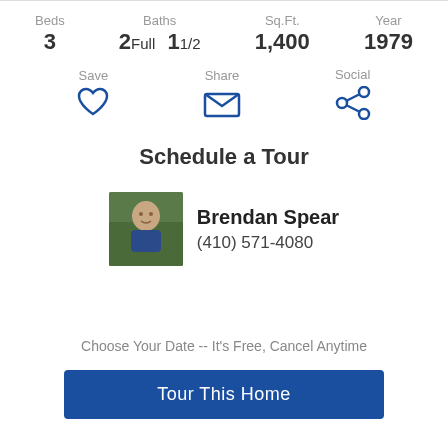Beds 3 | Baths 2Full 11/2 | Sq.Ft. 1,400 | Year 1979
Save | Share | Social
Schedule a Tour
Brendan Spear
(410) 571-4080
Choose Your Date -- It's Free, Cancel Anytime
Tour This Home